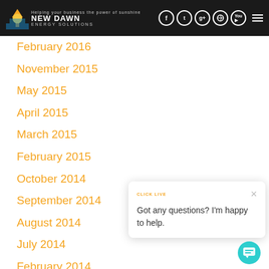New Dawn Energy Solutions
February 2016
November 2015
May 2015
April 2015
March 2015
February 2015
October 2014
September 2014
August 2014
July 2014
February 2014
February 2013
[Figure (screenshot): Chat popup widget with text 'Got any questions? I'm happy to help.' and teal chat bubble button]